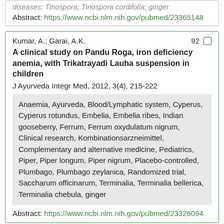diseases; Tinospora; Tinospora cordifolia; ginger
Abstract: https://www.ncbi.nlm.nih.gov/pubmed/23365148
Kumar, A.; Garai, A.K.
A clinical study on Pandu Roga, iron deficiency anemia, with Trikatrayadi Lauha suspension in children
J Ayurveda Integr Med, 2012, 3(4), 215-222
Anaemia, Ayurveda, Blood/Lymphatic system, Cyperus, Cyperus rotundus, Embelia, Embelia ribes, Indian gooseberry, Ferrum, Ferrum oxydulatum nigrum, Clinical research, Kombinationsarzneimittel, Complementary and alternative medicine, Pediatrics, Piper, Piper longum, Piper nigrum, Placebo-controlled, Plumbago, Plumbago zeylanica, Randomized trial, Saccharum officinarum, Terminalia, Terminalia bellerica, Terminalia chebula, ginger
Abstract: https://www.ncbi.nlm.nih.gov/pubmed/23326094